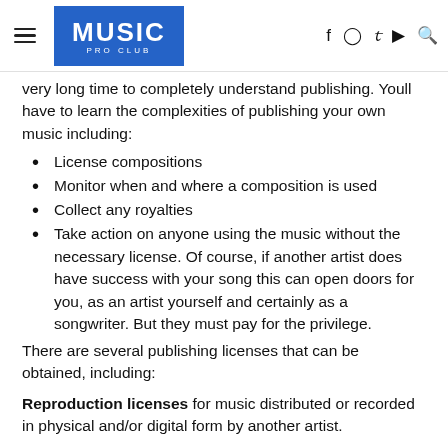MUSIC PRO CLUB
very long time to completely understand publishing. Youll have to learn the complexities of publishing your own music including:
License compositions
Monitor when and where a composition is used
Collect any royalties
Take action on anyone using the music without the necessary license. Of course, if another artist does have success with your song this can open doors for you, as an artist yourself and certainly as a songwriter. But they must pay for the privilege.
There are several publishing licenses that can be obtained, including:
Reproduction licenses for music distributed or recorded in physical and/or digital form by another artist.